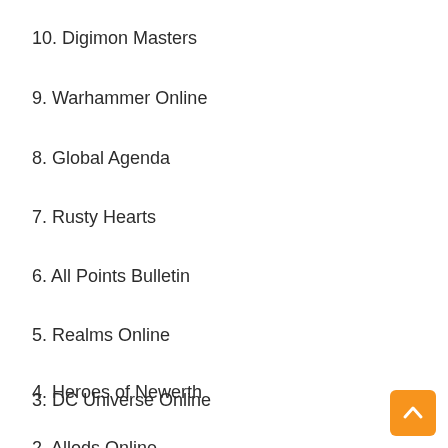10. Digimon Masters
9. Warhammer Online
8. Global Agenda
7. Rusty Hearts
6. All Points Bulletin
5. Realms Online
4. Heroes of Newerth
3. DC Universe Online
2. Allods Online
[Figure (other): Orange scroll-to-top button with upward chevron arrow]